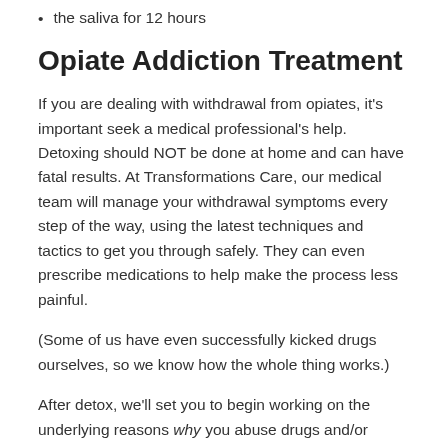the saliva for 12 hours
Opiate Addiction Treatment
If you are dealing with withdrawal from opiates, it's important seek a medical professional's help. Detoxing should NOT be done at home and can have fatal results. At Transformations Care, our medical team will manage your withdrawal symptoms every step of the way, using the latest techniques and tactics to get you through safely. They can even prescribe medications to help make the process less painful.
(Some of us have even successfully kicked drugs ourselves, so we know how the whole thing works.)
After detox, we'll set you to begin working on the underlying reasons why you abuse drugs and/or alcohol. We offer:
Residential Addiction Treatment
PHP (Partial Hospitalization Program)